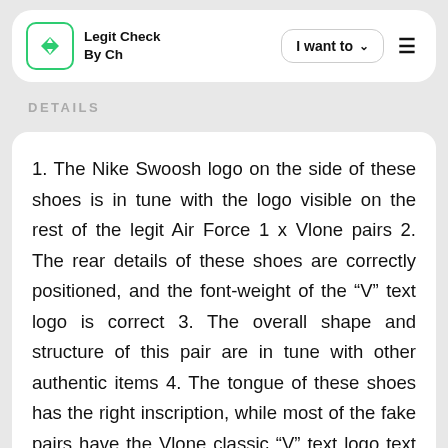Legit Check By Ch | I want to ☰
DETAILS
1. The Nike Swoosh logo on the side of these shoes is in tune with the logo visible on the rest of the legit Air Force 1 x Vlone pairs 2. The rear details of these shoes are correctly positioned, and the font-weight of the “V” text logo is correct 3. The overall shape and structure of this pair are in tune with other authentic items 4. The tongue of these shoes has the right inscription, while most of the fake pairs have the Vlone classic “V” text logo text – this pair has the “NIKE AIR” text, just like the rest of the legit pairs 5. The text on the sides of the shoes